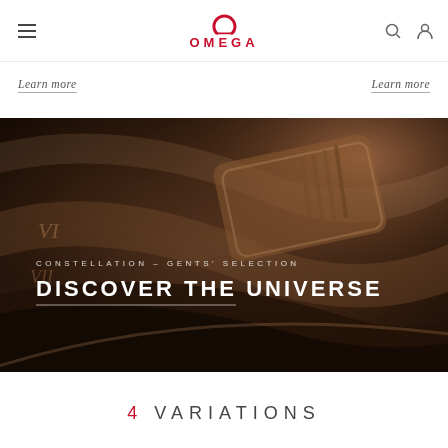OMEGA navigation header with hamburger menu, Omega logo, search and account icons
Learn more
Learn more
[Figure (photo): Close-up macro photograph of an Omega Constellation watch in rose gold/brown tones, showing the watch clasp and case detail. Text overlay reads: CONSTELLATION – GENTS' SELECTION / DISCOVER THE UNIVERSE with a white underline.]
4 VARIATIONS